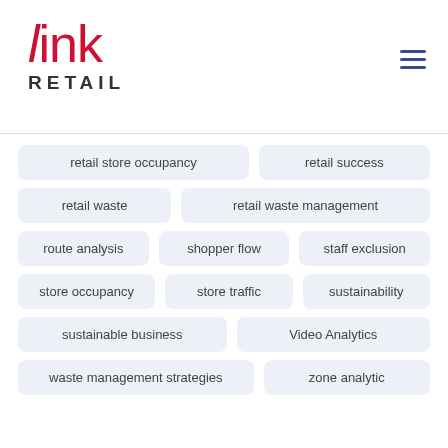[Figure (logo): Link Retail logo — 'link' in red italic/regular text, 'RETAIL' in dark spaced capitals below]
retail store occupancy
retail success
retail waste
retail waste management
route analysis
shopper flow
staff exclusion
store occupancy
store traffic
sustainability
sustainable business
Video Analytics
waste management strategies
zone analytic